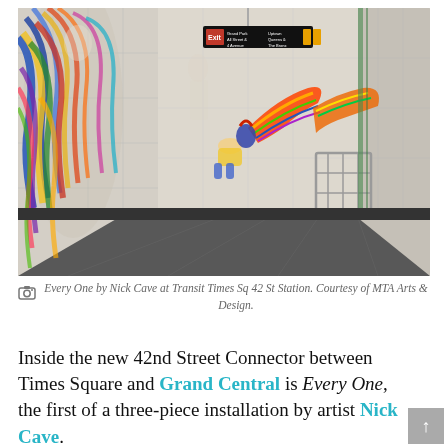[Figure (photo): Interior of a New York City subway station corridor showing large colorful mosaic/mural artworks on the white tile walls. On the left wall is a tall figure with colorful feathered costume. On the back wall is a figure crouching with a large colorful bird with spread wings. The floor is dark gray tile, and there is a metal staircase railing on the right side. An exit sign is visible above. This is the 'Every One' artwork by Nick Cave at Transit Times Sq 42 St Station.]
Every One by Nick Cave at Transit Times Sq 42 St Station. Courtesy of MTA Arts & Design.
Inside the new 42nd Street Connector between Times Square and Grand Central is Every One, the first of a three-piece installation by artist Nick Cave. Commissioned by MTA Arts & Design, the installation